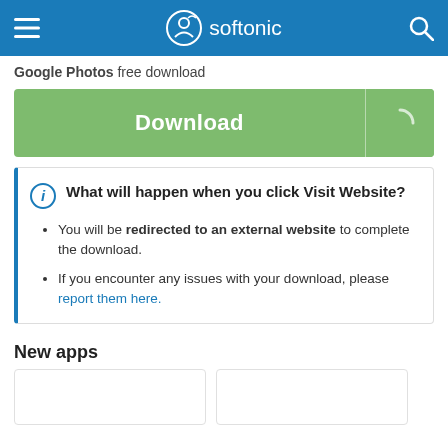softonic
Google Photos free download
[Figure (other): Green Download button with loading spinner icon on right]
What will happen when you click Visit Website?
You will be redirected to an external website to complete the download.
If you encounter any issues with your download, please report them here.
New apps